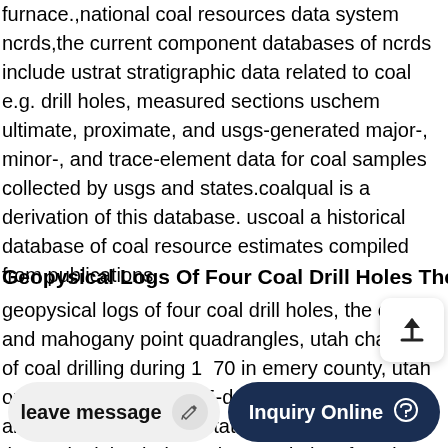furnace.,national coal resources data system ncrds,the current component databases of ncrds include ustrat stratigraphic data related to coal e.g. drill holes, measured sections uschem ultimate, proximate, and usgs-generated major-, minor-, and trace-element data for coal samples collected by usgs and states.coalqual is a derivation of this database. uscoal a historical database of coal resource estimates compiled from publications
Geopysical Logs Of Four Coal Drill Holes The Cap
geopysical logs of four coal drill holes, the cap and mahogany point quadrangles, utah chapter d of coal drilling during 1979 in emery county, utah open-file report 79-1495-d,the inside story of an alberta coal mine devastated by a,jun 24, 2021 the coal mining industry in canada has faced numerous setbacks
leave message
Inquiry Online